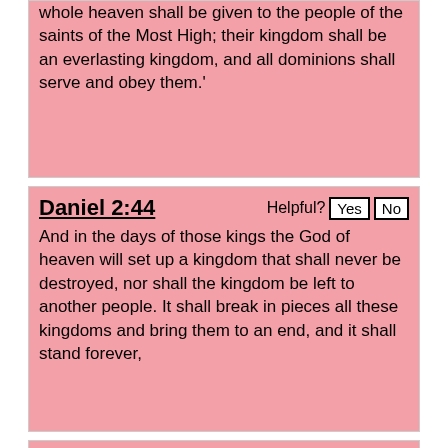whole heaven shall be given to the people of the saints of the Most High; their kingdom shall be an everlasting kingdom, and all dominions shall serve and obey them.'
Daniel 2:44
And in the days of those kings the God of heaven will set up a kingdom that shall never be destroyed, nor shall the kingdom be left to another people. It shall break in pieces all these kingdoms and bring them to an end, and it shall stand forever,
Isaiah 54:2
“Enlarge the place of your tent, and let the curtains of your habitations be stretched out; do not hold back; lengthen your cords